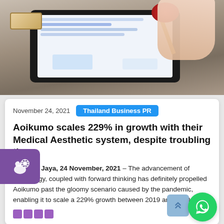[Figure (photo): Photo of a hand using a stylus on a tablet device, with a stamp and ink pad nearby on a wooden desk surface]
November 24, 2021
Thailand Business PR
Aoikumo scales 229% in growth with their Medical Aesthetic system, despite troubling times
Petaling Jaya, 24 November, 2021 – The advancement of technology, coupled with forward thinking has definitely propelled Aoikumo past the gloomy scenario caused by the pandemic, enabling it to scale a 229% growth between 2019 and 2020.